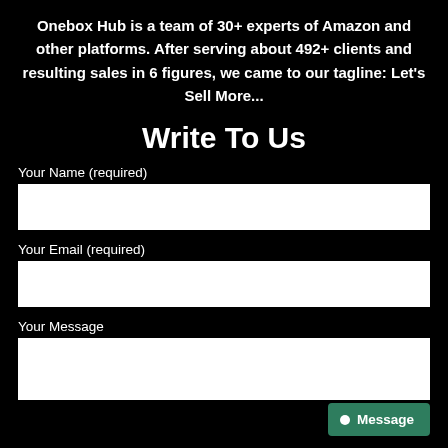Onebox Hub is a team of 30+ experts of Amazon and other platforms. After serving about 492+ clients and resulting sales in 6 figures, we came to our tagline: Let’s Sell More...
Write To Us
Your Name (required)
Your Email (required)
Your Message
Message